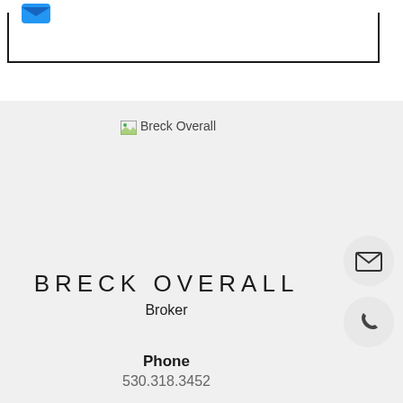[Figure (logo): Blue icon/logo at top left with a black border box beneath it]
[Figure (photo): Breck Overall agent photo placeholder]
BRECK OVERALL
Broker
[Figure (illustration): Email envelope icon in a circular button]
[Figure (illustration): Phone handset icon in a circular button]
Phone
530.318.3452